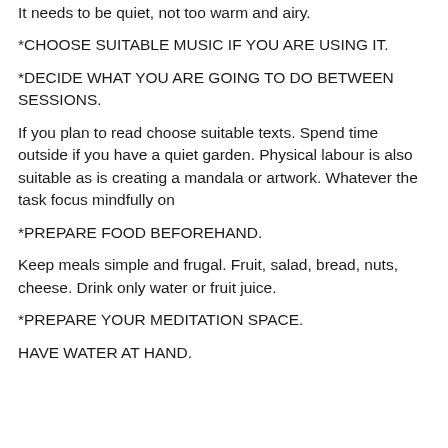It needs to be quiet, not too warm and airy.
*CHOOSE SUITABLE MUSIC IF YOU ARE USING IT.
*DECIDE WHAT YOU ARE GOING TO DO BETWEEN SESSIONS.
If you plan to read choose suitable texts. Spend time outside if you have a quiet garden. Physical labour is also suitable as is creating a mandala or artwork. Whatever the task focus mindfully on
*PREPARE FOOD BEFOREHAND.
Keep meals simple and frugal. Fruit, salad, bread, nuts, cheese. Drink only water or fruit juice.
*PREPARE YOUR MEDITATION SPACE.
HAVE WATER AT HAND.